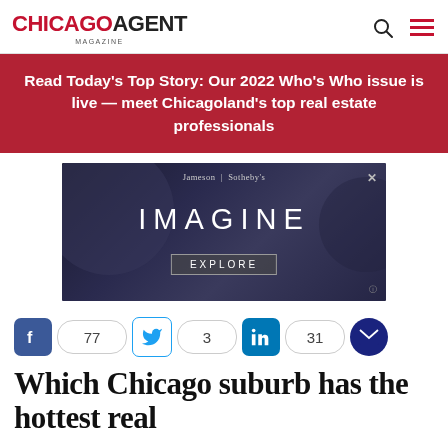CHICAGOAGENT MAGAZINE
Read Today's Top Story: Our 2022 Who's Who issue is live — meet Chicagoland's top real estate professionals
[Figure (photo): Jameson Sotheby's advertisement with city skyline background reading IMAGINE and EXPLORE]
77  3  31
Which Chicago suburb has the hottest real